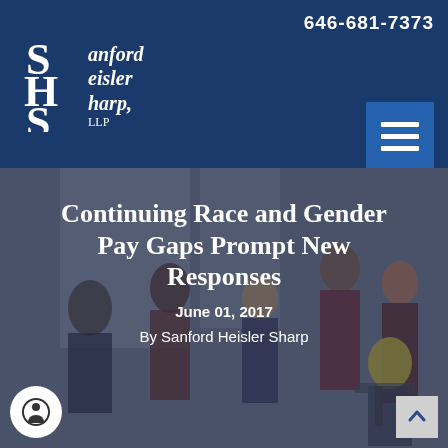646-681-7373
[Figure (logo): Sanford Heisler Sharp, LLP law firm logo with monogram SHS in serif font on dark blue background]
[Figure (photo): Photo of diverse group of office workers in a workplace setting, overlaid with dark blue tint]
Continuing Race and Gender Pay Gaps Prompt New Responses
June 01, 2017
By Sanford Heisler Sharp